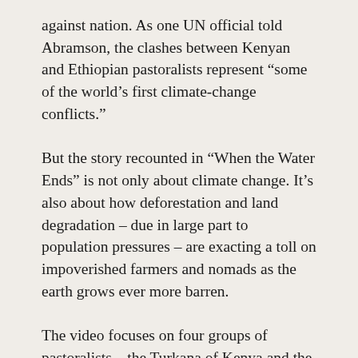against nation. As one UN official told Abramson, the clashes between Kenyan and Ethiopian pastoralists represent “some of the world’s first climate-change conflicts.”
But the story recounted in “When the Water Ends” is not only about climate change. It’s also about how deforestation and land degradation – due in large part to population pressures – are exacting a toll on impoverished farmers and nomads as the earth grows ever more barren.
The video focuses on four groups of pastoralists – the Turkana of Kenya and the Dassanech, Nyangatom, and Mursi of Ethiopia – who are among the more than two dozen tribes whose lives and culture depend on the waters of the Omo